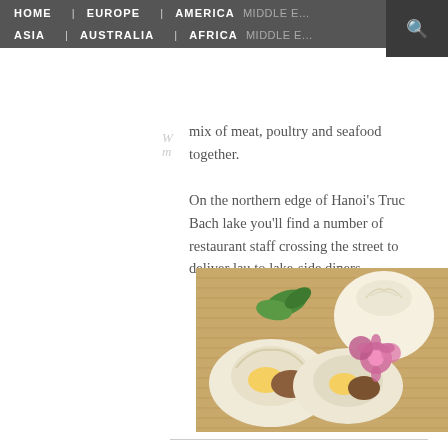HOME   EUROPE   AMERICA   ASIA   AUSTRALIA   AFRICA
mix of meat, poultry and seafood together. On the northern edge of Hanoi's Truc Bach lake you'll find a number of restaurant staff crossing the street to deliver lau to lake-side diners
[Figure (photo): Steamed bao buns filled with egg and meat filling, served on a bamboo mat with pink flowers and green herb garnish]